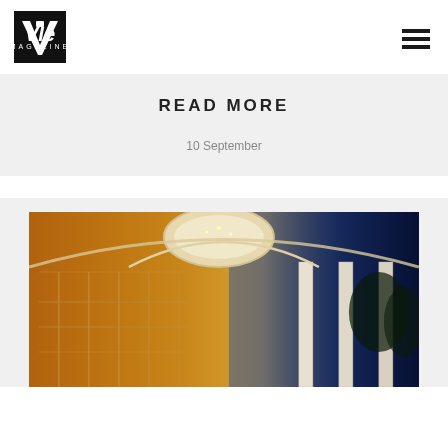[Figure (logo): VIE Magazine logo in black and white]
READ MORE
10 September
[Figure (photo): Interior of an elegant sunroom or covered porch with a circular ceiling dome with lights, large grid windows glowing warmly on the left side, white classical columns, and a twilight blue sky visible on the right side]